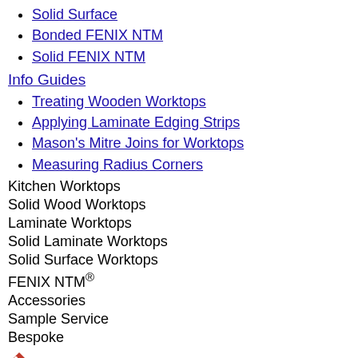Solid Surface
Bonded FENIX NTM
Solid FENIX NTM
Info Guides
Treating Wooden Worktops
Applying Laminate Edging Strips
Mason's Mitre Joins for Worktops
Measuring Radius Corners
Kitchen Worktops
Solid Wood Worktops
Laminate Worktops
Solid Laminate Worktops
Solid Surface Worktops
FENIX NTM®
Accessories
Sample Service
Bespoke
[Figure (other): Red price tag icon]
SAVE 10% ONLINE
Information
Materials
View All